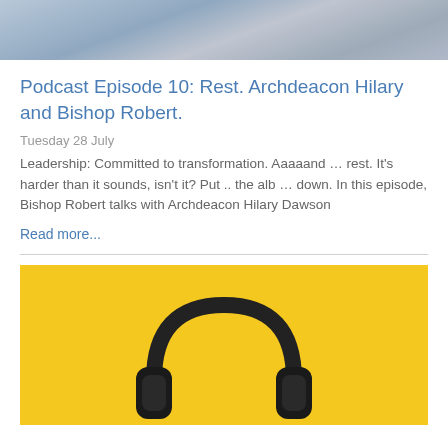[Figure (photo): Top portion of a photo showing a person wearing a blue floral patterned garment, cropped at the top of the page.]
Podcast Episode 10: Rest. Archdeacon Hilary and Bishop Robert.
Tuesday 28 July
Leadership: Committed to transformation. Aaaaand … rest. It's harder than it sounds, isn't it? Put .. the alb … down. In this episode, Bishop Robert talks with Archdeacon Hilary Dawson
Read more...
[Figure (photo): Bottom portion of the page showing a pair of over-ear headphones on a bright yellow background.]